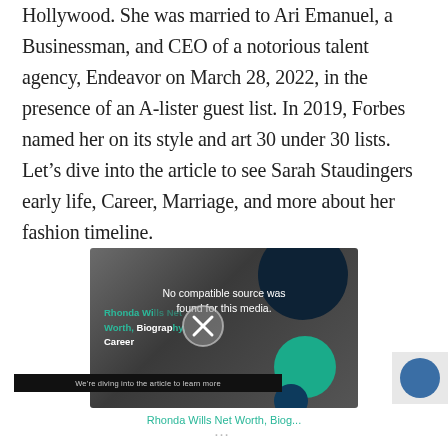Hollywood. She was married to Ari Emanuel, a Businessman, and CEO of a notorious talent agency, Endeavor on March 28, 2022, in the presence of an A-lister guest list. In 2019, Forbes named her on its style and art 30 under 30 lists. Let's dive into the article to see Sarah Staudingers early life, Career, Marriage, and more about her fashion timeline.
[Figure (screenshot): Embedded video player showing 'No compatible source was found for this media.' with a close/X button overlay. Background shows decorative circles in dark navy and teal. Video title reads 'Rhonda Wills Net Worth, Biography, Career' in green and white text.]
Rhonda Wills Net Worth, Biog...